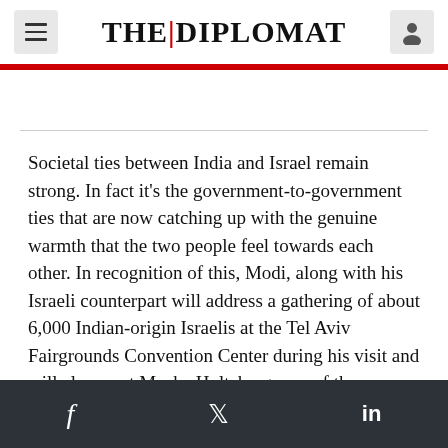THE DIPLOMAT
Societal ties between India and Israel remain strong. In fact it's the government-to-government ties that are now catching up with the genuine warmth that the two people feel towards each other. In recognition of this, Modi, along with his Israeli counterpart will address a gathering of about 6,000 Indian-origin Israelis at the Tel Aviv Fairgrounds Convention Center during his visit and will also meet Moshe Holtzberg, one of the youngest survivors of the 26/11 attacks in Mumbai.
f  Twitter  in